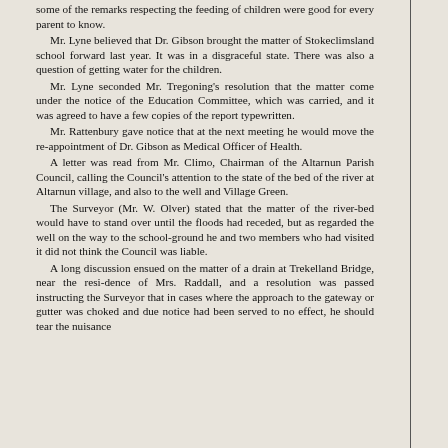some of the remarks respecting the feeding of children were good for every parent to know. Mr. Lyne believed that Dr. Gibson brought the matter of Stokeclimsland school forward last year. It was in a disgraceful state. There was also a question of getting water for the children. Mr. Lyne seconded Mr. Tregoning's resolution that the matter come under the notice of the Education Committee, which was carried, and it was agreed to have a few copies of the report typewritten. Mr. Rattenbury gave notice that at the next meeting he would move the re-appointment of Dr. Gibson as Medical Officer of Health. A letter was read from Mr. Climo, Chairman of the Altarnun Parish Council, calling the Council's attention to the state of the bed of the river at Altarnun village, and also to the well and Village Green. The Surveyor (Mr. W. Olver) stated that the matter of the river-bed would have to stand over until the floods had receded, but as regarded the well on the way to the school-ground he and two members who had visited it did not think the Council was liable. A long discussion ensued on the matter of a drain at Trekelland Bridge, near the residence of Mrs. Raddall, and a resolution was passed instructing the Surveyor that in cases where the approach to the gateway or gutter was choked and due notice had been served to no effect, he should tear the nuisance